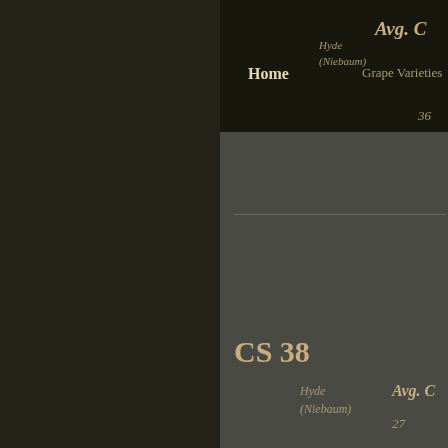Avg. (truncated) | Home | Grape Varieties | Hyde (Niebaum) | 36
CS 38
Hyde (Niebaum)
Avg. (truncated)
27
CS 40
Hyde (Niebaum)
Avg. (truncated)
37